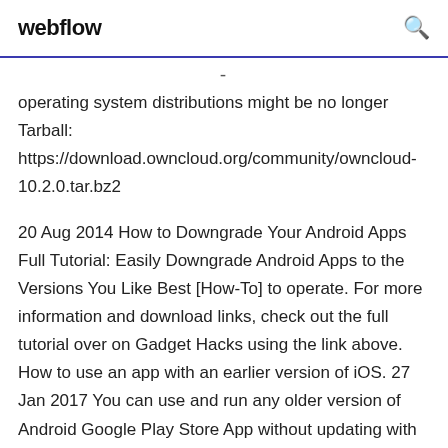webflow
operating system distributions might be no longer Tarball: https://download.owncloud.org/community/owncloud-10.2.0.tar.bz2
20 Aug 2014 How to Downgrade Your Android Apps Full Tutorial: Easily Downgrade Android Apps to the Versions You Like Best [How-To] to operate. For more information and download links, check out the full tutorial over on Gadget Hacks using the link above. How to use an app with an earlier version of iOS. 27 Jan 2017 You can use and run any older version of Android Google Play Store App without updating with